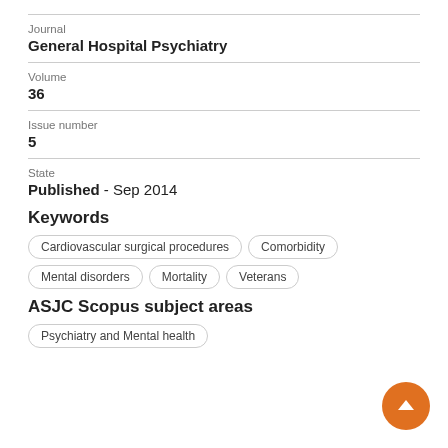Journal
General Hospital Psychiatry
Volume
36
Issue number
5
State
Published - Sep 2014
Keywords
Cardiovascular surgical procedures
Comorbidity
Mental disorders
Mortality
Veterans
ASJC Scopus subject areas
Psychiatry and Mental health